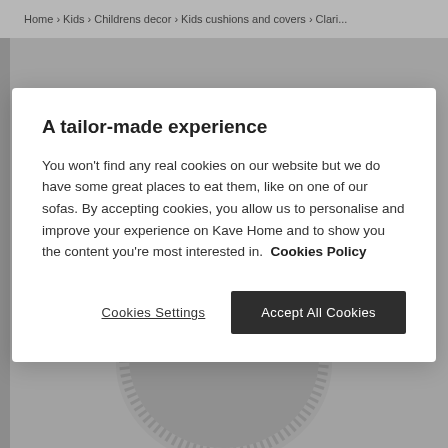Home › Kids › Childrens decor › Kids cushions and covers › Clari...
[Figure (photo): Round grey cushion with fringe trim, photographed on a light grey background]
A tailor-made experience
You won't find any real cookies on our website but we do have some great places to eat them, like on one of our sofas. By accepting cookies, you allow us to personalise and improve your experience on Kave Home and to show you the content you're most interested in.  Cookies Policy
Cookies Settings
Accept All Cookies